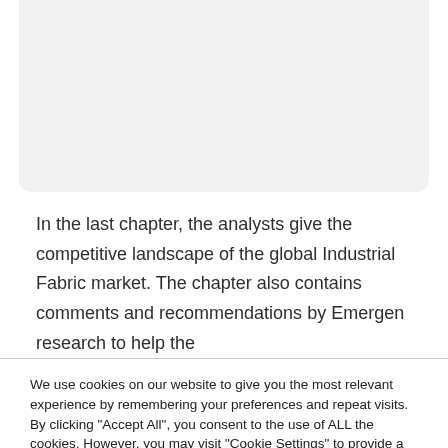[Figure (other): Gray rounded box at the top of the page (partial content, cropped)]
In the last chapter, the analysts give the competitive landscape of the global Industrial Fabric market. The chapter also contains comments and recommendations by Emergen research to help the
We use cookies on our website to give you the most relevant experience by remembering your preferences and repeat visits. By clicking "Accept All", you consent to the use of ALL the cookies. However, you may visit "Cookie Settings" to provide a controlled consent.